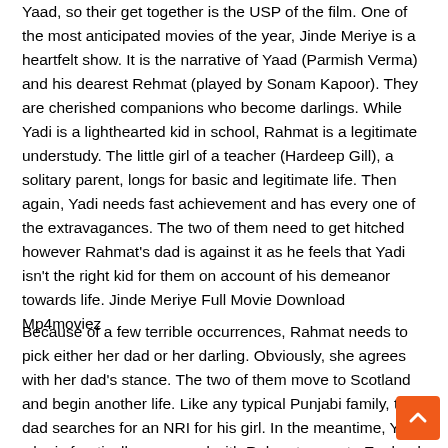Yaad, so their get together is the USP of the film. One of the most anticipated movies of the year, Jinde Meriye is a heartfelt show. It is the narrative of Yaad (Parmish Verma) and his dearest Rehmat (played by Sonam Kapoor). They are cherished companions who become darlings. While Yadi is a lighthearted kid in school, Rahmat is a legitimate understudy. The little girl of a teacher (Hardeep Gill), a solitary parent, longs for basic and legitimate life. Then again, Yadi needs fast achievement and has every one of the extravagances. The two of them need to get hitched however Rahmat's dad is against it as he feels that Yadi isn't the right kid for them on account of his demeanor towards life. Jinde Meriye Full Movie Download Mp4moviez
Because of a few terrible occurrences, Rahmat needs to pick either her dad or her darling. Obviously, she agrees with her dad's stance. The two of them move to Scotland and begin another life. Like any typical Punjabi family, the dad searches for an NRI for his girl. In the meantime, Yadi, who is frantically enamored with Rahmat, goes to England despite